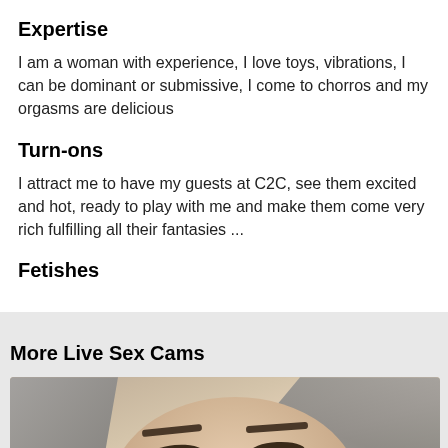Expertise
I am a woman with experience, I love toys, vibrations, I can be dominant or submissive, I come to chorros and my orgasms are delicious
Turn-ons
I attract me to have my guests at C2C, see them excited and hot, ready to play with me and make them come very rich fulfilling all their fantasies ...
Fetishes
More Live Sex Cams
[Figure (photo): Close-up photo of a woman's face with blonde/gray hair, looking slightly downward with a subtle smile, wearing a small earring]